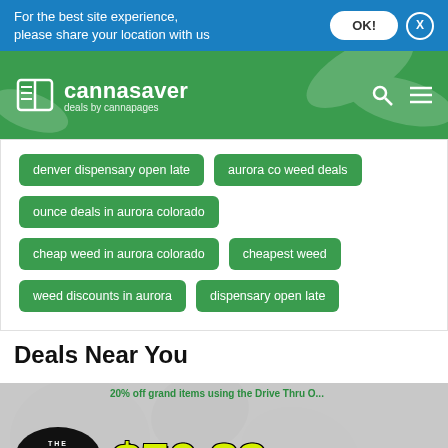For the best site experience, please share your location with us
[Figure (screenshot): Cannasaver website header with green cannabis leaf background, logo, search icon and menu icon]
denver dispensary open late
aurora co weed deals
ounce deals in aurora colorado
cheap weed in aurora colorado
cheapest weed
weed discounts in aurora
dispensary open late
Deals Near You
[Figure (photo): The Stone dispensary deal banner showing $50.83 ounce of flower promotion]